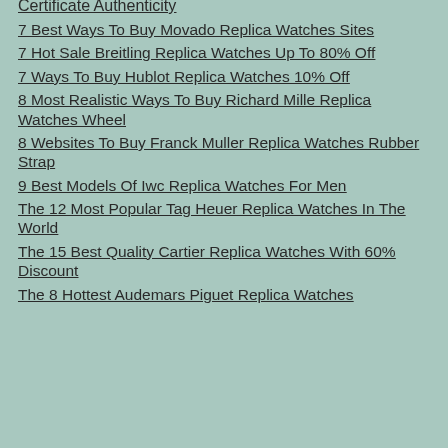Certificate Authenticity
7 Best Ways To Buy Movado Replica Watches Sites
7 Hot Sale Breitling Replica Watches Up To 80% Off
7 Ways To Buy Hublot Replica Watches 10% Off
8 Most Realistic Ways To Buy Richard Mille Replica Watches Wheel
8 Websites To Buy Franck Muller Replica Watches Rubber Strap
9 Best Models Of Iwc Replica Watches For Men
The 12 Most Popular Tag Heuer Replica Watches In The World
The 15 Best Quality Cartier Replica Watches With 60% Discount
The 8 Hottest Audemars Piguet Replica Watches